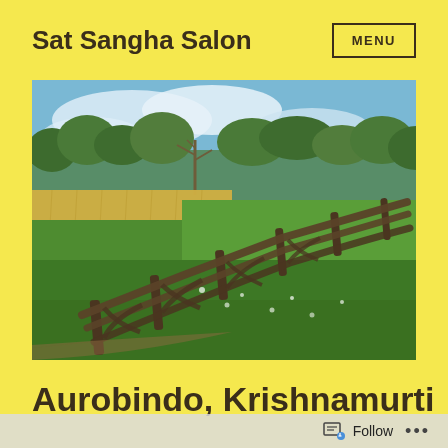Sat Sangha Salon
[Figure (photo): Outdoor landscape photograph showing a rustic split-rail wooden fence running diagonally across green grass, with golden wheat/tall grass field in the background and trees under a partly cloudy sky.]
Aurobindo, Krishnamurti
Follow ...